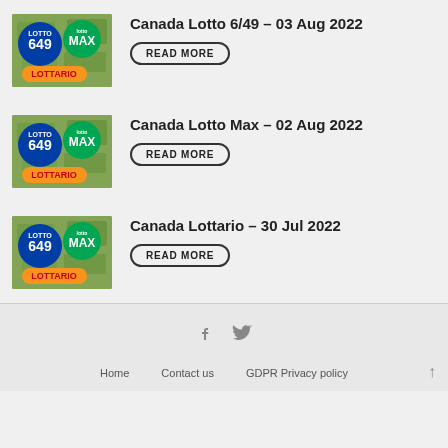[Figure (photo): Canada Lotto 6/49 and Lotto Max thumbnail with LOTTARIO logo]
Canada Lotto 6/49 – 03 Aug 2022
READ MORE
[Figure (photo): Canada Lotto 6/49 and Lotto Max thumbnail with LOTTARIO logo]
Canada Lotto Max – 02 Aug 2022
READ MORE
[Figure (photo): Canada Lotto 6/49 and Lotto Max thumbnail with LOTTARIO logo]
Canada Lottario – 30 Jul 2022
READ MORE
Home   Contact us   GDPR Privacy policy